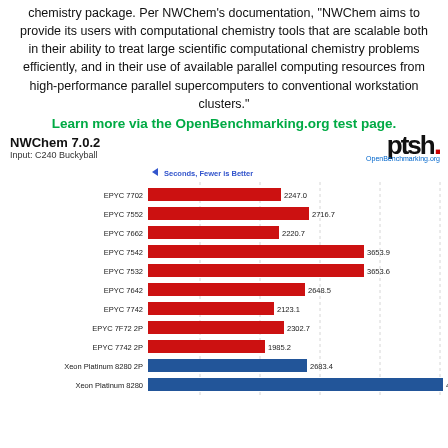chemistry package. Per NWChem's documentation, "NWChem aims to provide its users with computational chemistry tools that are scalable both in their ability to treat large scientific computational chemistry problems efficiently, and in their use of available parallel computing resources from high-performance parallel supercomputers to conventional workstation clusters."
Learn more via the OpenBenchmarking.org test page.
NWChem 7.0.2
Input: C240 Buckyball
[Figure (bar-chart): NWChem 7.0.2 - Input: C240 Buckyball]